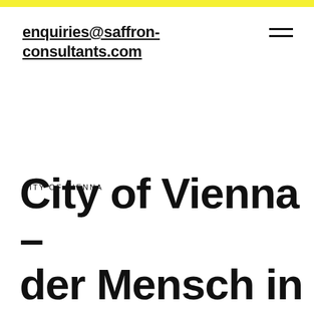enquiries@saffron-consultants.com
CITY OF VIENNA
City of Vienna – der Mensch in